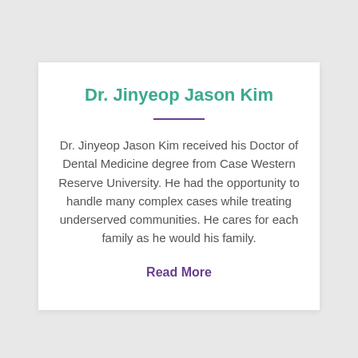Dr. Jinyeop Jason Kim
Dr. Jinyeop Jason Kim received his Doctor of Dental Medicine degree from Case Western Reserve University. He had the opportunity to handle many complex cases while treating underserved communities. He cares for each family as he would his family.
Read More